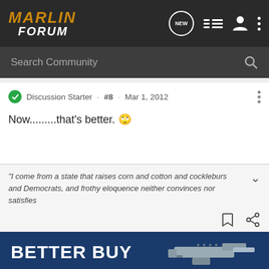MARLIN FORUM
Search Community
Discussion Starter · #8 · Mar 1, 2012
Now.........that's better. 🙄
"I come from a state that raises corn and cotton and cockleburs and Democrats, and frothy eloquence neither convinces nor satisfies
[Figure (infographic): BETTER BUY advertisement banner with firearm image on blue background]